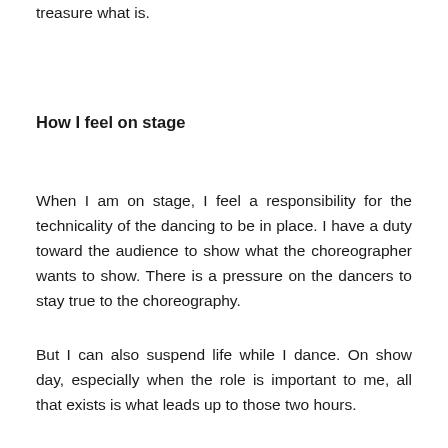treasure what is.
How I feel on stage
When I am on stage, I feel a responsibility for the technicality of the dancing to be in place. I have a duty toward the audience to show what the choreographer wants to show. There is a pressure on the dancers to stay true to the choreography.
But I can also suspend life while I dance. On show day, especially when the role is important to me, all that exists is what leads up to those two hours.